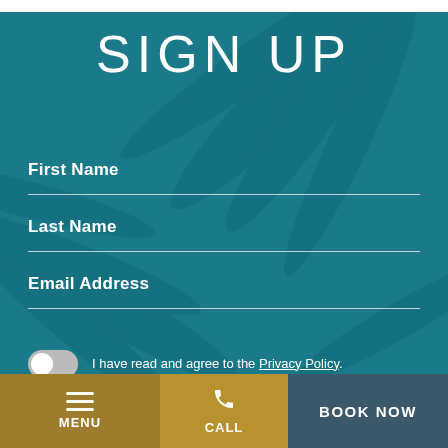SIGN UP
First Name
Last Name
Email Address
I have read and agree to the Privacy Policy.
Yes, I would like to receive emails from Blue Diamond
MENU    CALL    BOOK NOW